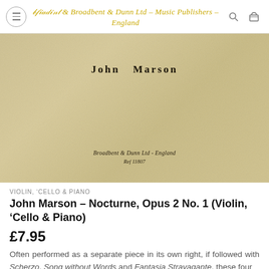Broadbent & Dunn Ltd – Music Publishers – England
[Figure (photo): Sheet music cover page with parchment/beige textured background showing 'John Marson' as composer name in bold serif font, and 'Broadbent & Dunn Ltd - England / Ref 11807' at the bottom in italic serif font]
VIOLIN, 'CELLO & PIANO
John Marson – Nocturne, Opus 2 No. 1 (Violin, 'Cello & Piano)
£7.95
Often performed as a separate piece in its own right, if followed with Scherzo, Song without Words and Fantasia Stravagante, these four